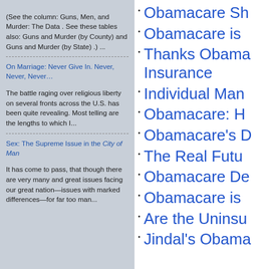(See the column: Guns, Men, and Murder: The Data . See these tables also: Guns and Murder (by County) and Guns and Murder (by State) .) ...
On Marriage: Never Give In. Never, Never, Never…
The battle raging over religious liberty on several fronts across the U.S. has been quite revealing. Most telling are the lengths to which I...
Sex: The Supreme Issue in the City of Man
It has come to pass, that though there are very many and great issues facing our great nation—issues with marked differences—for far too man...
Obamacare Sh
Obamacare is
Thanks Obama Insurance
Individual Man
Obamacare: H
Obamacare's D
The Real Futu
Obamacare De
Obamacare is
Are the Uninsu
Jindal's Obama